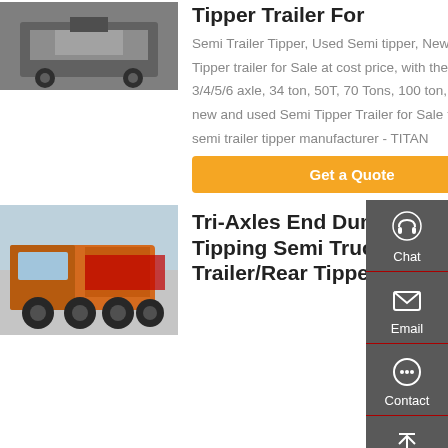[Figure (photo): Front view of a heavy truck/tipper trailer in grey/dark tones]
Tipper Trailer For
Semi Trailer Tipper, Used Semi tipper, New Semi Tipper trailer for Sale at cost price, with the size of 3/4/5/6 axle, 34 ton, 50T, 70 Tons, 100 ton, custom new and used Semi Tipper Trailer for Sale from best semi trailer tipper manufacturer - TITAN
Get a Quote
[Figure (photo): Orange HOWO semi truck tractor for tipper/dump trailer, side-front view in outdoor setting]
Tri-Axles End Dump Tipping Semi Truck Trailer/Rear Tipper